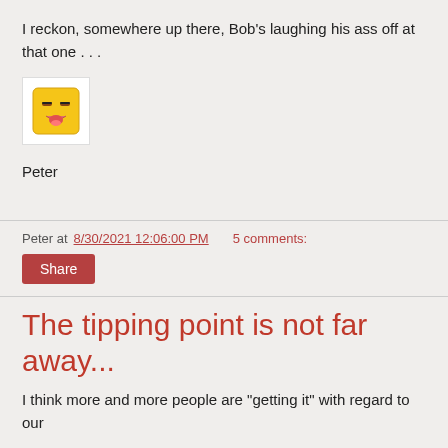I reckon, somewhere up there, Bob's laughing his ass off at that one . . .
[Figure (illustration): A small pixel-art smiley face emoji with a winking/squinting expression, displayed inside a white bordered box]
Peter
Peter at 8/30/2021 12:06:00 PM    5 comments:
Share
The tipping point is not far away...
I think more and more people are "getting it" with regard to our